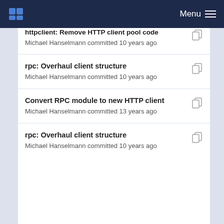Menu
httpclient: Remove HTTP client pool code
Michael Hanselmann committed 10 years ago
rpc: Overhaul client structure
Michael Hanselmann committed 10 years ago
Convert RPC module to new HTTP client
Michael Hanselmann committed 13 years ago
rpc: Overhaul client structure
Michael Hanselmann committed 10 years ago
Initial commit.
Iustin Pop committed 15 years ago
rpc: Overhaul client structure